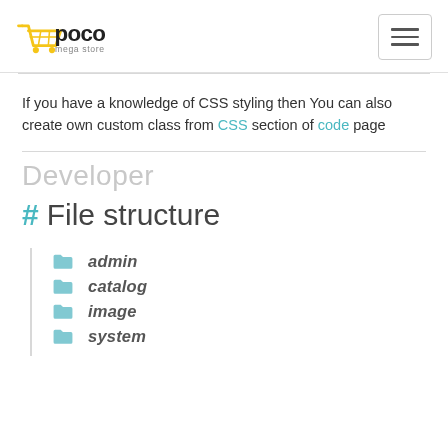poco mega store
If you have a knowledge of CSS styling then You can also create own custom class from CSS section of code page
Developer
# File structure
admin
catalog
image
system